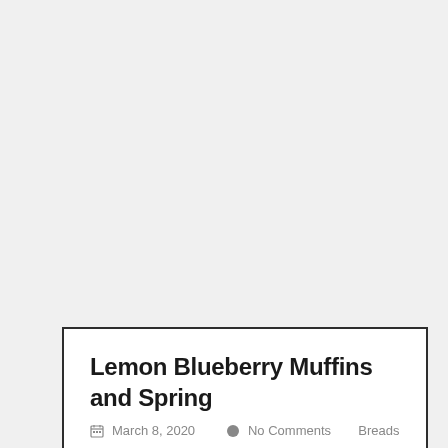Lemon Blueberry Muffins and Spring
March 8, 2020   No Comments   Breads